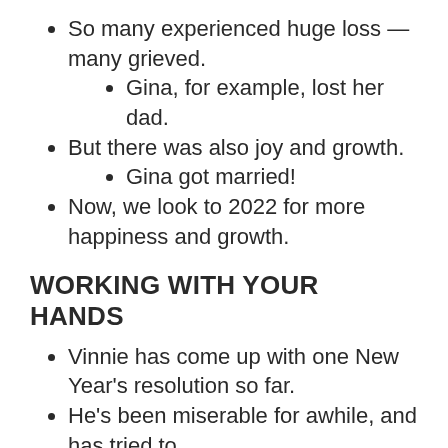So many experienced huge loss — many grieved.
Gina, for example, lost her dad.
But there was also joy and growth.
Gina got married!
Now, we look to 2022 for more happiness and growth.
WORKING WITH YOUR HANDS
Vinnie has come up with one New Year's resolution so far.
He's been miserable for awhile, and has tried to